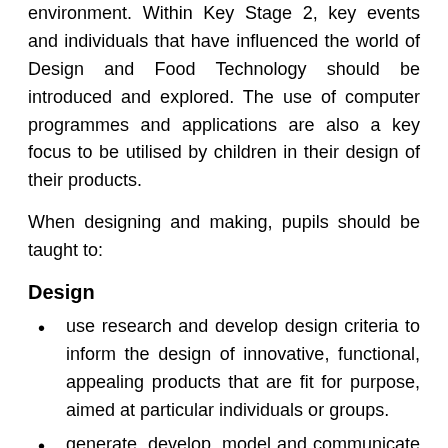environment. Within Key Stage 2, key events and individuals that have influenced the world of Design and Food Technology should be introduced and explored. The use of computer programmes and applications are also a key focus to be utilised by children in their design of their products.
When designing and making, pupils should be taught to:
Design
use research and develop design criteria to inform the design of innovative, functional, appealing products that are fit for purpose, aimed at particular individuals or groups.
generate, develop, model and communicate their ideas through discussion, annotated sketches, cross-sectional and